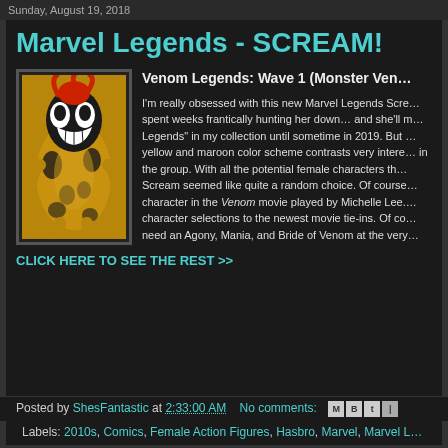Sunday, August 19, 2018
Marvel Legends - SCREAM!
Venom Legends: Wave 1 (Monster Ven...
[Figure (photo): Scream Marvel Legends action figure in yellow/gold and black with red hair, showing the character's alien symbiote costume with white spider-like face markings]
I'm really obsessed with this new Marvel Legends Scre... spent weeks frantically hunting her down... and she'll m... Legends" in my collection until sometime in 2019. But ... yellow and maroon color scheme contrasts very intere... in the group. With all the potential female characters th... Scream seemed like quite a random choice. Of course... character in the Venom movie played by Michelle Lee.... character selections to the newest movie tie-ins. Of co... need an Agony, Mania, and Bride of Venom at the very...
CLICK HERE TO SEE THE REST >>
Posted by ShesFantastic at 2:33:00 AM   No comments:
Labels: 2010s, Comics, Female Action Figures, Hasbro, Marvel, Marvel L...